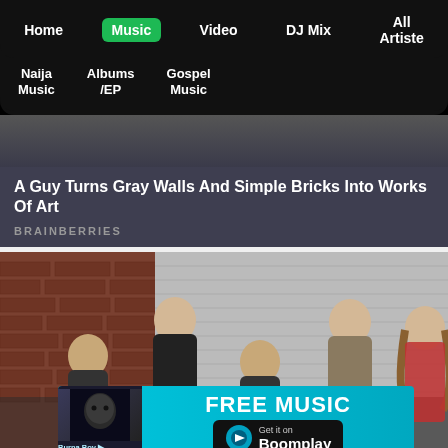Home | Music | Video | DJ Mix | All Artiste | Naija Music | Albums /EP | Gospel Music
[Figure (screenshot): Navigation menu for a music website with top nav (Home, Music [active/green], Video, DJ Mix, All Artiste) and sub-nav (Naija Music, Albums /EP, Gospel Music)]
[Figure (photo): Brainberries promotional card: 'A Guy Turns Gray Walls And Simple Bricks Into Works Of Art' with dark background and BRAINBERRIES label]
[Figure (photo): Band photo of approximately 5 people (rock band) standing against a brick wall and metal shutter, with a Boomplay 'FREE MUSIC - Get it on Boomplay' advertisement banner overlaid at the bottom]
8 Beautiful Songs That Have Disturbing Meanings